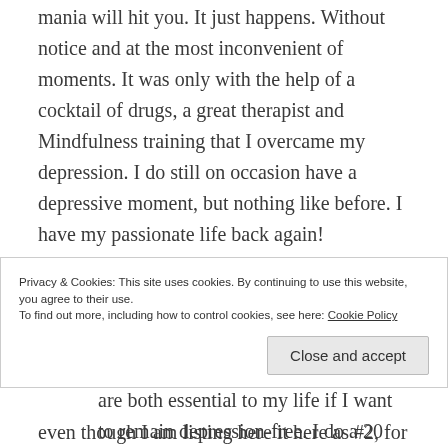mania will hit you. It just happens. Without notice and at the most inconvenient of moments. It was only with the help of a cocktail of drugs, a great therapist and Mindfulness training that I overcame my depression. I do still on occasion have a depressive moment, but nothing like before. I have my passionate life back again!
Here is my list of 5 things I am passionate about:
Meditation and Mindfulness – these are both essential to my life if I want to remain depression-free. I do a 20 min meditation each
Privacy & Cookies: This site uses cookies. By continuing to use this website, you agree to their use. To find out more, including how to control cookies, see here: Cookie Policy
Close and accept
even though I am listing here it here as #2, for